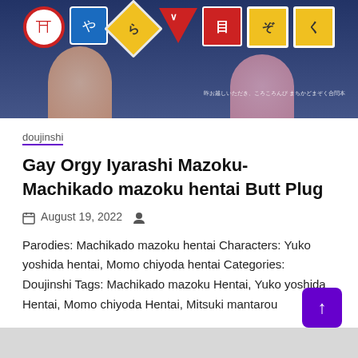[Figure (illustration): Colorful anime-style banner image featuring Japanese road signs with characters on dark background]
doujinshi
Gay Orgy Iyarashi Mazoku- Machikado mazoku hentai Butt Plug
August 19, 2022
Parodies: Machikado mazoku hentai Characters: Yuko yoshida hentai, Momo chiyoda hentai Categories: Doujinshi Tags: Machikado mazoku Hentai, Yuko yoshida Hentai, Momo chiyoda Hentai, Mitsuki mantarou
Read Hentai